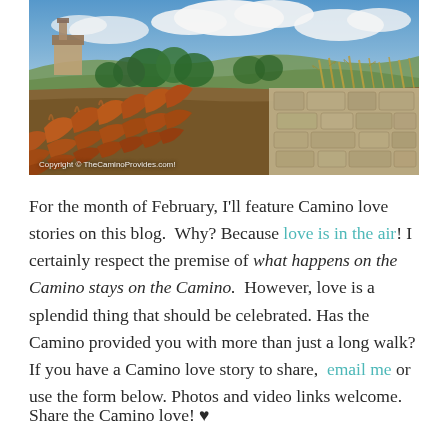[Figure (photo): Panoramic landscape photograph showing terracotta roof tiles in the foreground, a stone wall with dried corn stalks on the right, green trees and rolling hills in the middle ground, and a blue sky with white clouds. A watermark reads 'Copyright © TheCaminoProvides.com!' in the lower left.]
For the month of February, I'll feature Camino love stories on this blog.  Why? Because love is in the air! I certainly respect the premise of what happens on the Camino stays on the Camino.  However, love is a splendid thing that should be celebrated. Has the Camino provided you with more than just a long walk? If you have a Camino love story to share,  email me or use the form below. Photos and video links welcome.
Share the Camino love! ♥